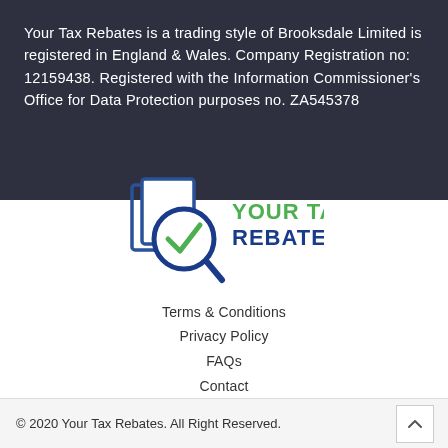Your Tax Rebates is a trading style of Brooksdale Limited is registered in England & Wales. Company Registration no: 12159438. Registered with the Information Commissioner's Office for Data Protection purposes no. ZA545378
[Figure (logo): Your Tax Rebates logo with magnifying glass icon containing a green checkmark, blue document pages, and green/blue text reading YOUR TAX REBATES]
Terms & Conditions
Privacy Policy
FAQs
Contact
Start Claim
© 2020 Your Tax Rebates. All Right Reserved.